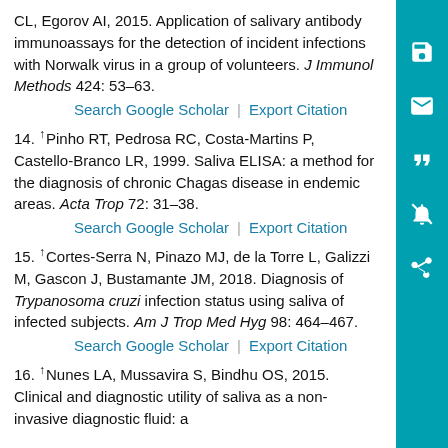CL, Egorov AI, 2015. Application of salivary antibody immunoassays for the detection of incident infections with Norwalk virus in a group of volunteers. J Immunol Methods 424: 53–63.
Search Google Scholar | Export Citation
14. ↑Pinho RT, Pedrosa RC, Costa-Martins P, Castello-Branco LR, 1999. Saliva ELISA: a method for the diagnosis of chronic Chagas disease in endemic areas. Acta Trop 72: 31–38.
Search Google Scholar | Export Citation
15. ↑Cortes-Serra N, Pinazo MJ, de la Torre L, Galizzi M, Gascon J, Bustamante JM, 2018. Diagnosis of Trypanosoma cruzi infection status using saliva of infected subjects. Am J Trop Med Hyg 98: 464–467.
Search Google Scholar | Export Citation
16. ↑Nunes LA, Mussavira S, Bindhu OS, 2015. Clinical and diagnostic utility of saliva as a non-invasive diagnostic fluid: a